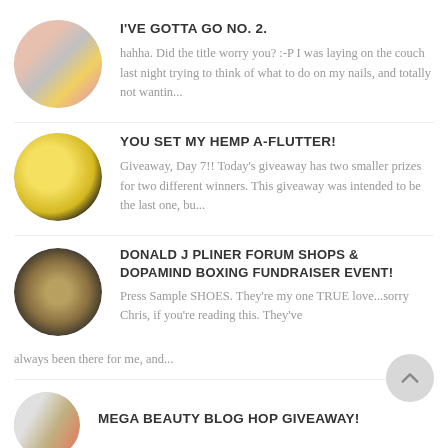I'VE GOTTA GO NO. 2. hahha. Did the title worry you? :-P I was laying on the couch last night trying to think of what to do on my nails, and totally not wantin...
YOU SET MY HEMP A-FLUTTER! Giveaway, Day 7!! Today's giveaway has two smaller prizes for two different winners. This giveaway was intended to be the last one, bu...
DONALD J PLINER FORUM SHOPS & DOPAMIND BOXING FUNDRAISER EVENT! Press Sample SHOES. They're my one TRUE love...sorry Chris, if you're reading this. They've always been there for me, and...
MEGA BEAUTY BLOG HOP GIVEAWAY!